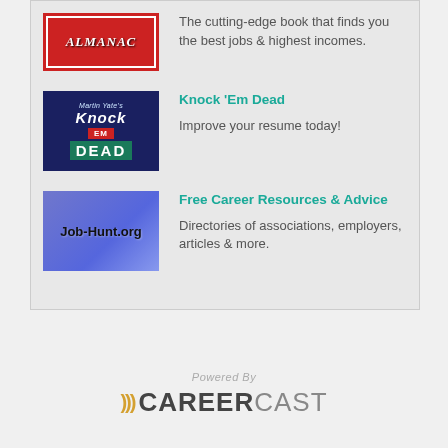[Figure (logo): Almanac book cover with red background and white text]
The cutting-edge book that finds you the best jobs & highest incomes.
[Figure (logo): Knock Em Dead book cover with dark blue and red/green banding]
Knock 'Em Dead
Improve your resume today!
[Figure (logo): Job-Hunt.org logo on purple/blue background]
Free Career Resources & Advice
Directories of associations, employers, articles & more.
[Figure (logo): Powered By CareerCast logo]
Powered By